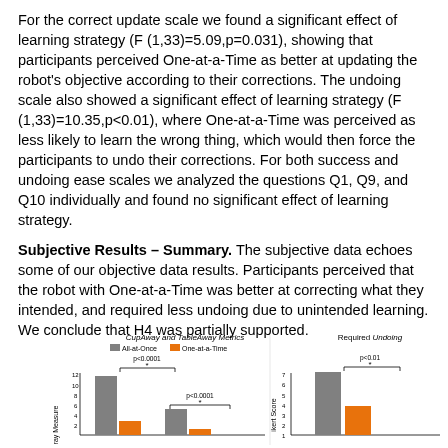For the correct update scale we found a significant effect of learning strategy (F (1,33)=5.09,p=0.031), showing that participants perceived One-at-a-Time as better at updating the robot's objective according to their corrections. The undoing scale also showed a significant effect of learning strategy (F (1,33)=10.35,p<0.01), where One-at-a-Time was perceived as less likely to learn the wrong thing, which would then force the participants to undo their corrections. For both success and undoing ease scales we analyzed the questions Q1, Q9, and Q10 individually and found no significant effect of learning strategy.
Subjective Results – Summary. The subjective data echoes some of our objective data results. Participants perceived that the robot with One-at-a-Time was better at correcting what they intended, and required less undoing due to unintended learning. We conclude that H4 was partially supported.
[Figure (grouped-bar-chart): Two grouped bar charts side by side. Left chart: CupAway and TableAway Metrics with All-at-Once (gray) and One-at-a-Time (orange) bars, showing p<0.0001 significance markers. Right chart: Required Undoing with same color coding, showing p<0.01 significance marker.]